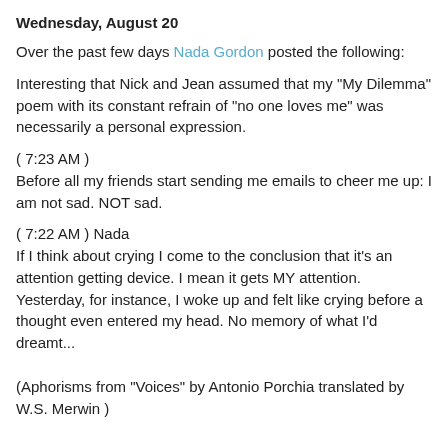Wednesday, August 20
Over the past few days Nada Gordon posted the following:
Interesting that Nick and Jean assumed that my "My Dilemma" poem with its constant refrain of "no one loves me" was necessarily a personal expression.
( 7:23 AM )
Before all my friends start sending me emails to cheer me up: I am not sad. NOT sad.
( 7:22 AM ) Nada
If I think about crying I come to the conclusion that it's an attention getting device. I mean it gets MY attention. Yesterday, for instance, I woke up and felt like crying before a thought even entered my head. No memory of what I'd dreamt...
(Aphorisms from "Voices" by Antonio Porchia translated by W.S. Merwin )